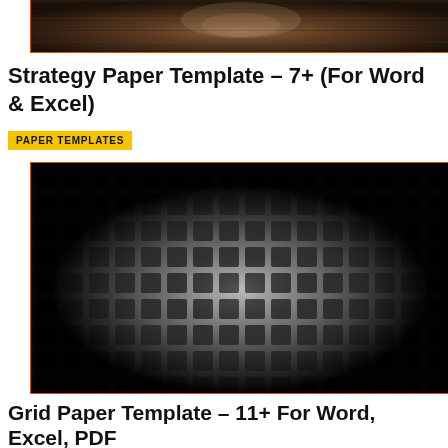[Figure (photo): Cropped bottom portion of a photo showing a dark wooden surface or similar dark textured background]
Strategy Paper Template – 7+ (For Word & Excel)
PAPER TEMPLATES
[Figure (photo): Dark metallic grid/mesh pattern with square holes arranged in rows and columns, with a lighter center area creating a radial gradient effect]
Grid Paper Template – 11+ For Word, Excel, PDF